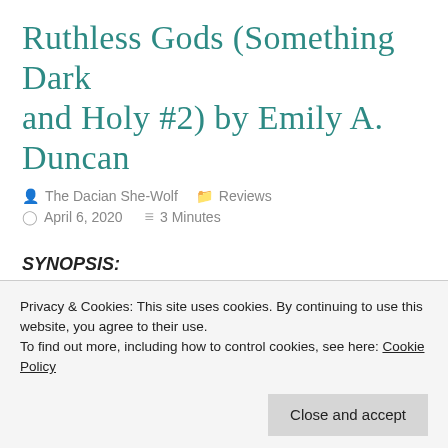Ruthless Gods (Something Dark and Holy #2) by Emily A. Duncan
The Dacian She-Wolf   Reviews   April 6, 2020   3 Minutes
SYNOPSIS:
Darkness never works alone…
Privacy & Cookies: This site uses cookies. By continuing to use this website, you agree to their use. To find out more, including how to control cookies, see here: Cookie Policy   Close and accept